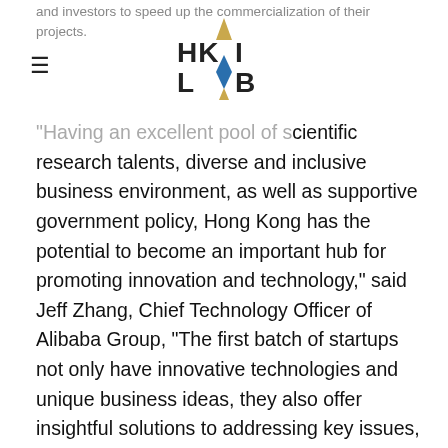and investors to speed up the commercialization of their projects.
[Figure (logo): HKAI LAB logo with geometric triangle and diamond shapes in gold and blue, text reads HK AI LAB]
“Having an excellent pool of scientific research talents, diverse and inclusive business environment, as well as supportive government policy, Hong Kong has the potential to become an important hub for promoting innovation and technology,” said Jeff Zhang, Chief Technology Officer of Alibaba Group, “The first batch of startups not only have innovative technologies and unique business ideas, they also offer insightful solutions to addressing key issues, including smart mobility and FinTech. We truly believe, under the incubation of HKAI Lab with supports from HKSTP, Innovation and Technology Bureau, Innovation and Technology Fund, SenseTime and Alibaba, startups in Hong Kong can have more room to grow, and together, we can elevate Hong Kong to become a hub for innovation and technology across the region.”